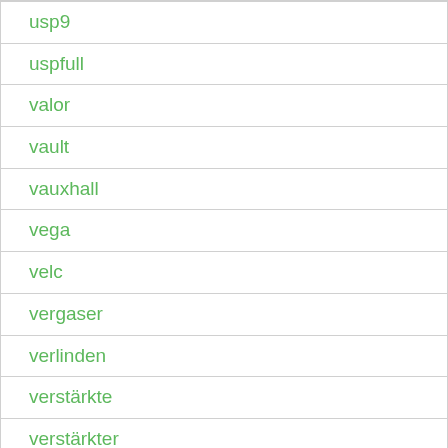usp9
uspfull
valor
vault
vauxhall
vega
velc
vergaser
verlinden
verstärkte
verstärkter
vertical
very